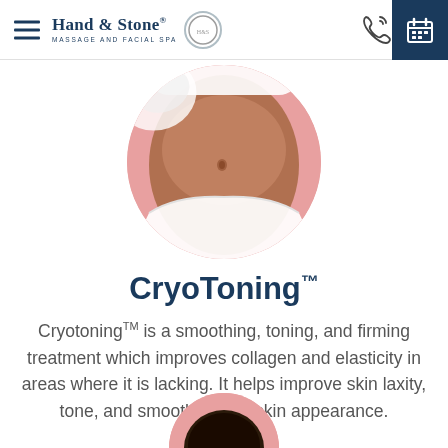Hand & Stone Massage and Facial Spa
[Figure (photo): Circular cropped photo of person's midsection wearing white bikini/underwear on a pink background, showing torso/abdomen area related to CryoToning treatment]
CryoToning™
Cryotoning™ is a smoothing, toning, and firming treatment which improves collagen and elasticity in areas where it is lacking. It helps improve skin laxity, tone, and smoothness in skin appearance.
[Figure (photo): Partial circular cropped photo at bottom of page showing top of person's head with dark hair on pink background]